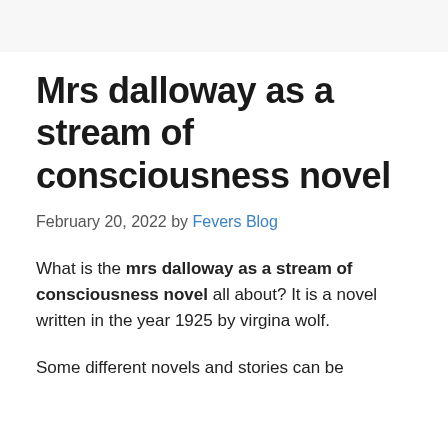Mrs dalloway as a stream of consciousness novel
February 20, 2022 by Fevers Blog
What is the mrs dalloway as a stream of consciousness novel all about? It is a novel written in the year 1925 by virgina wolf.
Some different novels and stories can be